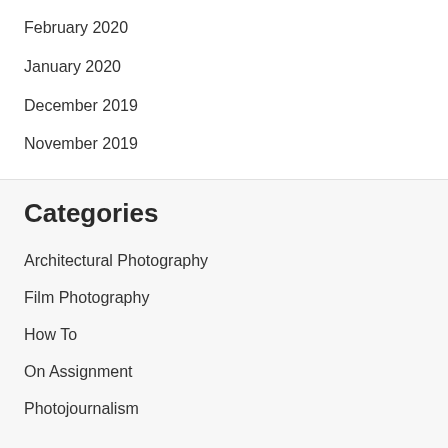February 2020
January 2020
December 2019
November 2019
Categories
Architectural Photography
Film Photography
How To
On Assignment
Photojournalism